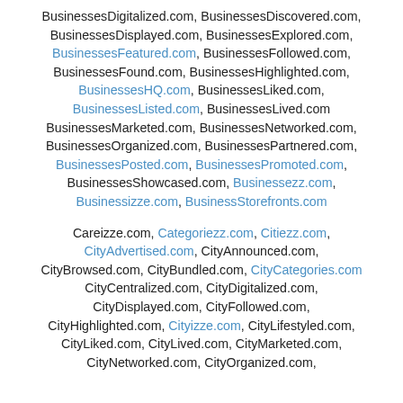BusinessesDigitalized.com, BusinessesDiscovered.com, BusinessesDisplayed.com, BusinessesExplored.com, BusinessesFeatured.com, BusinessesFollowed.com, BusinessesFound.com, BusinessesHighlighted.com, BusinessesHQ.com, BusinessesLiked.com, BusinessesListed.com, BusinessesLived.com BusinessesMarketed.com, BusinessesNetworked.com, BusinessesOrganized.com, BusinessesPartnered.com, BusinessesPosted.com, BusinessesPromoted.com, BusinessesShowcased.com, Businessezz.com, Businessizze.com, BusinessStorefronts.com
Careizze.com, Categoriezz.com, Citiezz.com, CityAdvertised.com, CityAnnounced.com, CityBrowsed.com, CityBundled.com, CityCategories.com CityCentralized.com, CityDigitalized.com, CityDisplayed.com, CityFollowed.com, CityHighlighted.com, Cityizze.com, CityLifestyled.com, CityLiked.com, CityLived.com, CityMarketed.com, CityNetworked.com, CityOrganized.com,